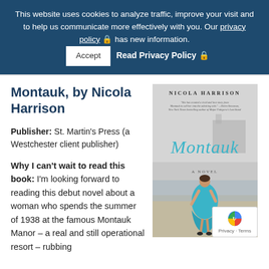This website uses cookies to analyze traffic, improve your visit and to help us communicate more effectively with you. Our privacy policy 🔒 has new information. Accept  Read Privacy Policy 🔒
Montauk, by Nicola Harrison
Publisher: St. Martin's Press (a Westchester client publisher)
[Figure (photo): Book cover of 'Montauk' by Nicola Harrison showing a woman in a teal dress standing on a beach, viewed from behind, with a manor visible in the background. Author name 'NICOLA HARRISON' at top, 'Montauk' as large title text in the middle, and 'A NOVEL' subtitle below.]
Why I can't wait to read this book: I'm looking forward to reading this debut novel about a woman who spends the summer of 1938 at the famous Montauk Manor – a real and still operational resort – rubbing